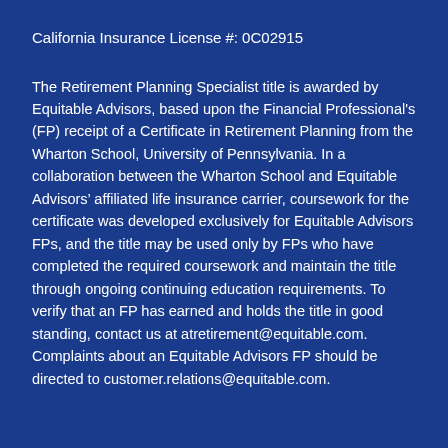California Insurance License #: 0C02915
The Retirement Planning Specialist title is awarded by Equitable Advisors, based upon the Financial Professional's (FP) receipt of a Certificate in Retirement Planning from the Wharton School, University of Pennsylvania. In a collaboration between the Wharton School and Equitable Advisors’ affiliated life insurance carrier, coursework for the certificate was developed exclusively for Equitable Advisors FPs, and the title may be used only by FPs who have completed the required coursework and maintain the title through ongoing continuing education requirements. To verify that an FP has earned and holds the title in good standing, contact us at atretirement@equitable.com. Complaints about an Equitable Advisors FP should be directed to customer.relations@equitable.com.